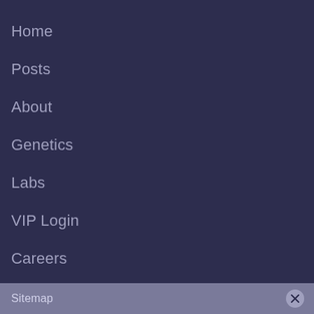Home
Posts
About
Genetics
Labs
VIP Login
Careers
Contact us
Sitemap